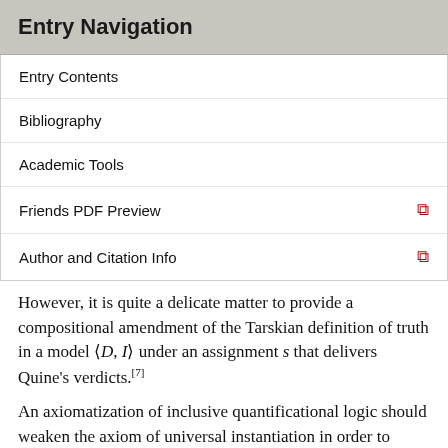Entry Navigation
Entry Contents
Bibliography
Academic Tools
Friends PDF Preview
Author and Citation Info
However, it is quite a delicate matter to provide a compositional amendment of the Tarskian definition of truth in a model ⟨D, I⟩ under an assignment s that delivers Quine's verdicts.[7]
An axiomatization of inclusive quantificational logic should weaken the axiom of universal instantiation in order to prevent the derivation of theorems such as (∀x Px → ∃x Px) or ∃x(Px → Px). One option independently explored by Kripke (1963) and Lambert (1963) is to replace (∀1) with a closed axiom schema: